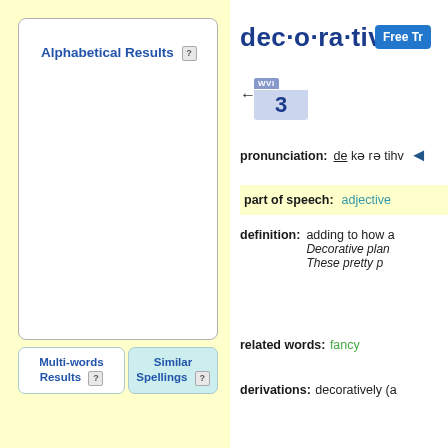Alphabetical Results
Multi-words Results
Similar Spellings
dec·o·ra·tive
WVI 3
pronunciation: de kə rə tihv
part of speech: adjective
definition: adding to how a Decorative plan These pretty p
related words: fancy
derivations: decoratively (a